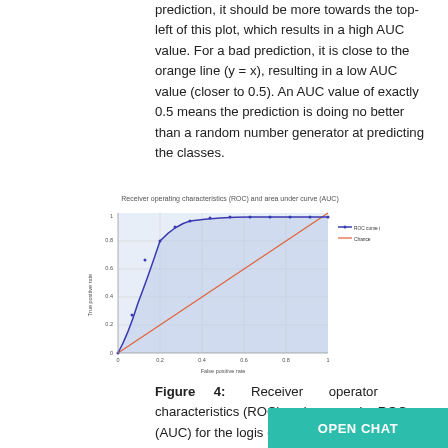prediction, it should be more towards the top-left of this plot, which results in a high AUC value. For a bad prediction, it is close to the orange line (y = x), resulting in a low AUC value (closer to 0.5). An AUC value of exactly 0.5 means the prediction is doing no better than a random number generator at predicting the classes.
[Figure (continuous-plot): ROC curve plot showing True positive rate vs False positive rate. Blue curve (AUC = 0.84) rises steeply toward top-left. Orange diagonal line represents Chance (y=x). Light blue shaded area under the ROC curve. Legend shows ROC curve (AUC = 0.84) and Chance.]
Figure 4: Receiver operator characteristics (ROC) and area under ROC (AUC) for the logistic classifier.